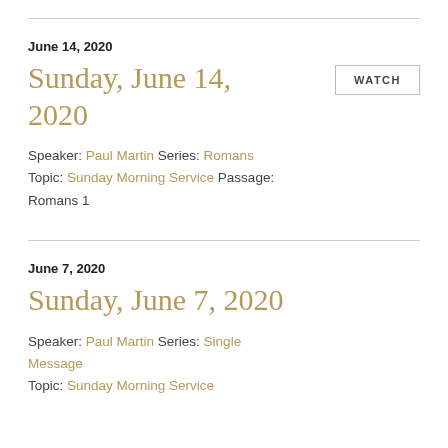June 14, 2020
Sunday, June 14, 2020
WATCH
Speaker: Paul Martin Series: Romans Topic: Sunday Morning Service Passage: Romans 1
June 7, 2020
Sunday, June 7, 2020
WATCH
Speaker: Paul Martin Series: Single Message Topic: Sunday Morning Service